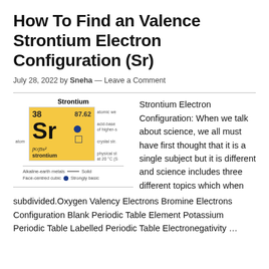How To Find an Valence Strontium Electron Configuration (Sr)
July 28, 2022 by Sneha — Leave a Comment
[Figure (illustration): Strontium element card from the periodic table showing atomic number 38, symbol Sr, atomic mass 87.62, electron configuration [Kr]5s², with legend showing alkaline-earth metals, solid state, face-centred cubic, and strongly basic indicators.]
Strontium Electron Configuration: When we talk about science, we all must have first thought that it is a single subject but it is different and science includes three different topics which when
subdivided.Oxygen Valency Electrons Bromine Electrons Configuration Blank Periodic Table Element Potassium Periodic Table Labelled Periodic Table Electronegativity …